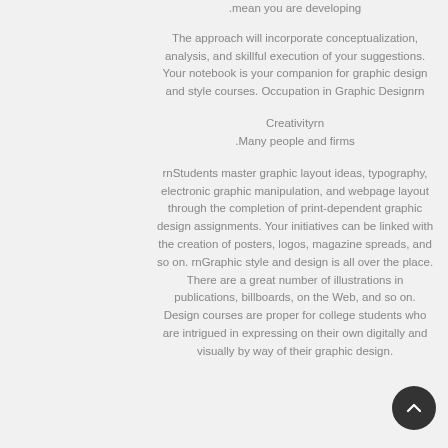.mean you are developing
The approach will incorporate conceptualization, analysis, and skillful execution of your suggestions. Your notebook is your companion for graphic design and style courses. Occupation in Graphic Designrn
Creativityrn
.Many people and firms
rnStudents master graphic layout ideas, typography, electronic graphic manipulation, and webpage layout through the completion of print-dependent graphic design assignments. Your initiatives can be linked with the creation of posters, logos, magazine spreads, and so on. rnGraphic style and design is all over the place. There are a great number of illustrations in publications, billboards, on the Web, and so on. Design courses are proper for college students who are intrigued in expressing on their own digitally and visually by way of their graphic design.